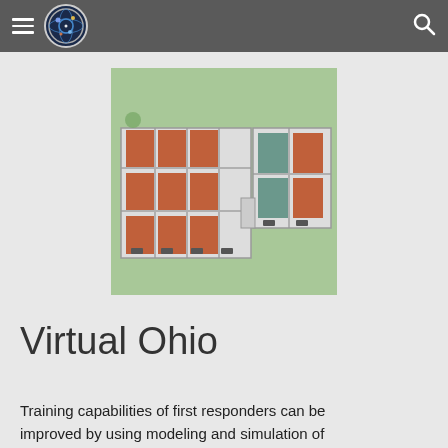Virtual Ohio — site header with hamburger menu, logo, and search icon
[Figure (illustration): 3D isometric rendering of a building complex with orange/rust colored roof sections, white/grey walls, viewed from above at an angle, on a green ground surface. Appears to be a training facility floor plan rendered in 3D.]
Virtual Ohio
Training capabilities of first responders can be improved by using modeling and simulation of